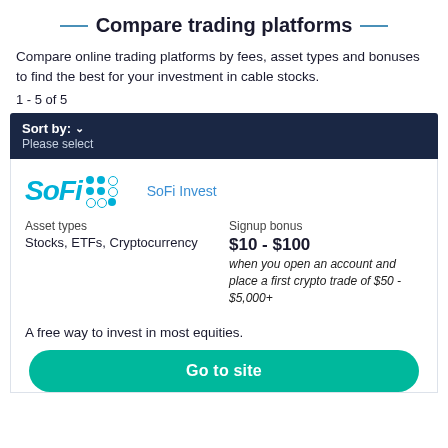Compare trading platforms
Compare online trading platforms by fees, asset types and bonuses to find the best for your investment in cable stocks.
1 - 5 of 5
Sort by: Please select
[Figure (logo): SoFi logo with dot grid icon, and 'SoFi Invest' link text]
| Asset types | Signup bonus |
| --- | --- |
| Stocks, ETFs, Cryptocurrency | $10 - $100 when you open an account and place a first crypto trade of $50 - $5,000+ |
A free way to invest in most equities.
Go to site